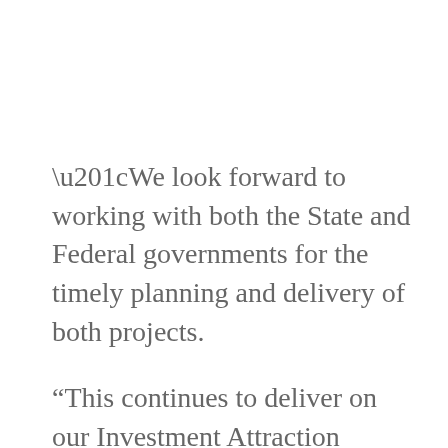“We look forward to working with both the State and Federal governments for the timely planning and delivery of both projects.
“This continues to deliver on our Investment Attraction Strategy to create local jobs and attract commercial investment. It’s great news for Melbourne’s west.
“As we look toward economic recovery, it’s great to see a further $101.7 million added to the Local Roads and Community Infrastructure Program. With one of